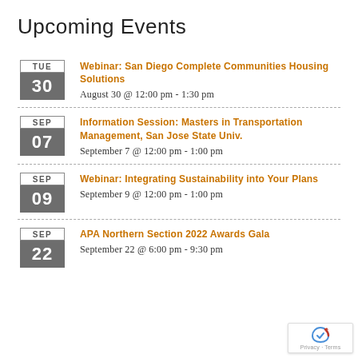Upcoming Events
Webinar: San Diego Complete Communities Housing Solutions
August 30 @ 12:00 pm - 1:30 pm
Information Session: Masters in Transportation Management, San Jose State Univ.
September 7 @ 12:00 pm - 1:00 pm
Webinar: Integrating Sustainability into Your Plans
September 9 @ 12:00 pm - 1:00 pm
APA Northern Section 2022 Awards Gala
September 22 @ 6:00 pm - 9:30 pm